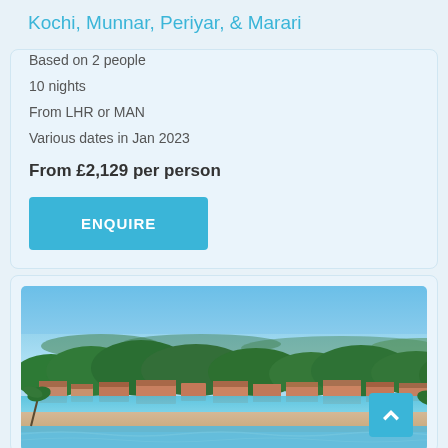Kochi, Munnar, Periyar, & Marari
Based on 2 people
10 nights
From LHR or MAN
Various dates in Jan 2023
From £2,129 per person
ENQUIRE
[Figure (photo): Aerial coastal view of a tropical resort town with turquoise water, beach, palm trees, and hotel buildings with terracotta rooftops under a blue sky]